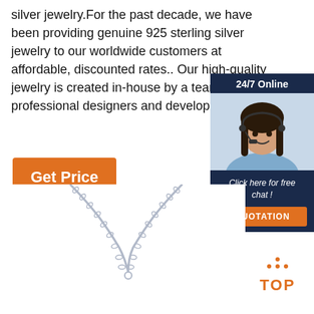silver jewelry.For the past decade, we have been providing genuine 925 sterling silver jewelry to our worldwide customers at affordable, discounted rates.. Our high-quality jewelry is created in-house by a team of professional designers and developers.
Get Price
[Figure (infographic): Customer service chat widget with '24/7 Online' header, photo of woman with headset, 'Click here for free chat!' text, and orange QUOTATION button]
[Figure (photo): Silver chain necklace with V-shape pendant, photographed on white background]
[Figure (logo): TOP badge with orange dots above text reading TOP]